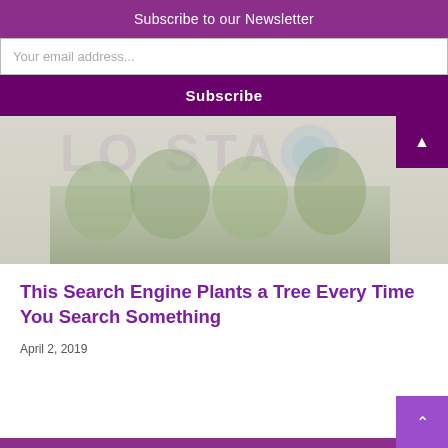Subscribe to our Newsletter
Your email address...
Subscribe
[Figure (photo): Blurred outdoor photo showing trees and a sign with letters visible, likely a logo or entrance sign with a circular emblem]
This Search Engine Plants a Tree Every Time You Search Something
April 2, 2019